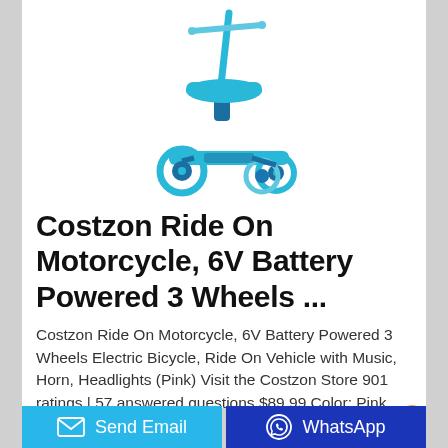[Figure (photo): Blue children's 3-wheel kick scooter with seat attachment, teal/cyan colored, shown on white background]
Costzon Ride On Motorcycle, 6V Battery Powered 3 Wheels ...
Costzon Ride On Motorcycle, 6V Battery Powered 3 Wheels Electric Bicycle, Ride On Vehicle with Music, Horn, Headlights (Pink) Visit the Costzon Store 901 ratings | 57 answered questions $89 99 Color: Pink About this item 🔲EASY TO RIDE🔲 - Your baby can
Send Email
WhatsApp